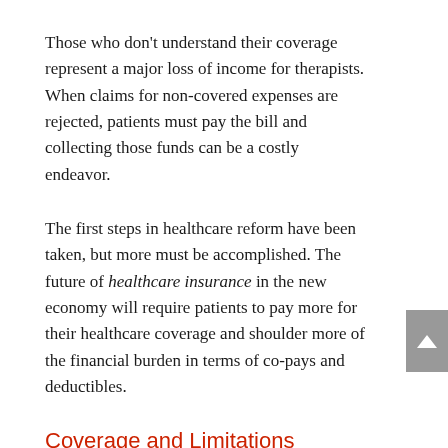Those who don't understand their coverage represent a major loss of income for therapists. When claims for non-covered expenses are rejected, patients must pay the bill and collecting those funds can be a costly endeavor.
The first steps in healthcare reform have been taken, but more must be accomplished. The future of healthcare insurance in the new economy will require patients to pay more for their healthcare coverage and shoulder more of the financial burden in terms of co-pays and deductibles.
Coverage and Limitations